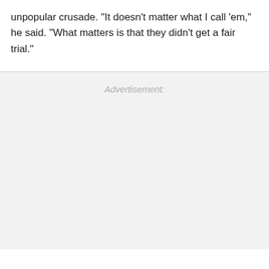unpopular crusade. "It doesn't matter what I call 'em," he said. "What matters is that they didn't get a fair trial."
Advertisement: